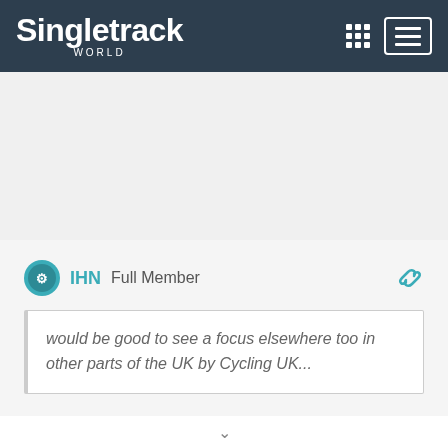Singletrack WORLD
IHN  Full Member
would be good to see a focus elsewhere too in other parts of the UK by Cycling UK...
Cycling UK is, pretty much, a volunteer-led organisation, so maybe you should get involved